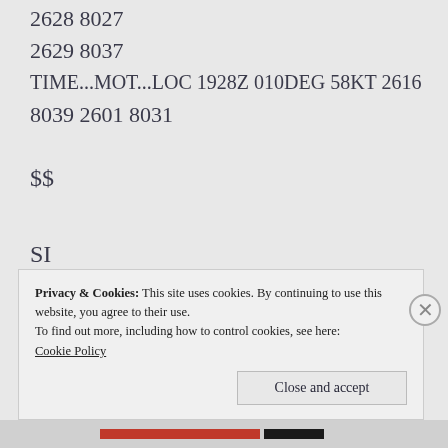2628 8027
2629 8037
TIME...MOT...LOC 1928Z 010DEG 58KT 2616
8039 2601 8031
$$
SI
Privacy & Cookies: This site uses cookies. By continuing to use this website, you agree to their use.
To find out more, including how to control cookies, see here:
Cookie Policy
Close and accept